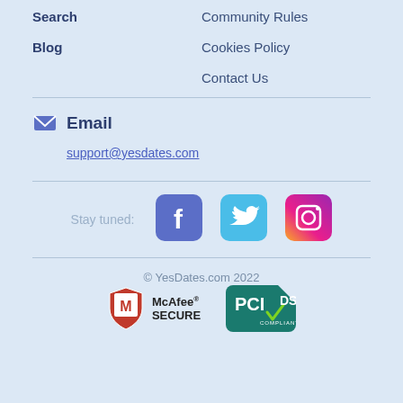Search
Blog
Community Rules
Cookies Policy
Contact Us
Email
support@yesdates.com
Stay tuned:
[Figure (logo): Facebook logo icon - blue rounded square with white F]
[Figure (logo): Twitter logo icon - light blue rounded square with white bird]
[Figure (logo): Instagram logo icon - gradient rounded square with camera icon]
© YesDates.com 2022
[Figure (logo): McAfee SECURE badge - shield with M, text McAfee SECURE]
[Figure (logo): PCI DSS Compliant badge - teal rounded rectangle with PCI checkmark and DSS COMPLIANT text]